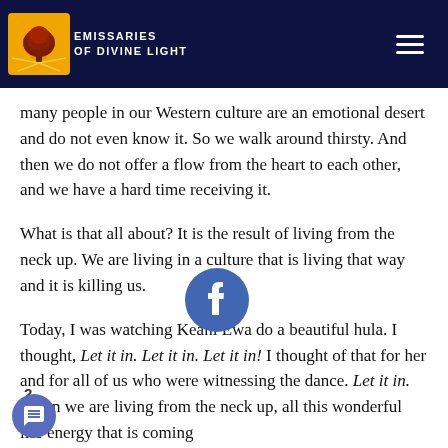EMISSARIES OF DIVINE LIGHT
many people in our Western culture are an emotional desert and do not even know it. So we walk around thirsty. And then we do not offer a flow from the heart to each other, and we have a hard time receiving it.
What is that all about? It is the result of living from the neck up. We are living in a culture that is living that way and it is killing us.
[Figure (logo): Facebook logo circle icon]
Today, I was watching Keahi Ewa do a beautiful hula. I thought, Let it in. Let it in. Let it in! I thought of that for her and for all of us who were witnessing the dance. Let it in. When we are living from the neck up, all this wonderful life energy that is coming